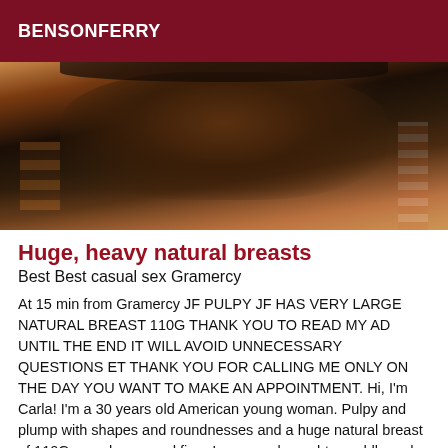BENSONFERRY
[Figure (photo): Close-up photo of a person wearing a dark grey top, showing upper torso area against a striped background]
Huge, heavy natural breasts
Best Best casual sex Gramercy
At 15 min from Gramercy JF PULPY JF HAS VERY LARGE NATURAL BREAST 110G THANK YOU TO READ MY AD UNTIL THE END IT WILL AVOID UNNECESSARY QUESTIONS ET THANK YOU FOR CALLING ME ONLY ON THE DAY YOU WANT TO MAKE AN APPOINTMENT. Hi, I'm Carla! I'm a 30 years old American young woman. Pulpy and plump with shapes and roundnesses and a huge natural breast of 110G, very heavy and firm. I am a real naughty, cuddly and greedy! Expert in blowjob nature well drooling and deep throat with my little piercing. I would send you to